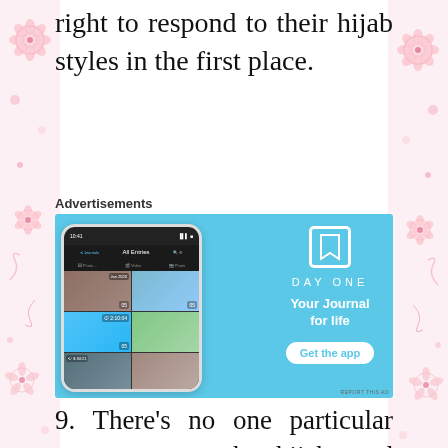right to respond to their hijab styles in the first place.
Advertisements
[Figure (screenshot): Advertisement for DayOne journal app showing a smartphone with a photo grid app screen on the left, and on the right the DayOne logo, tagline 'Your Journal for life', and a 'Get the app' button on a light blue background.]
9. There’s no one particular way to wear the hijab, and every woman